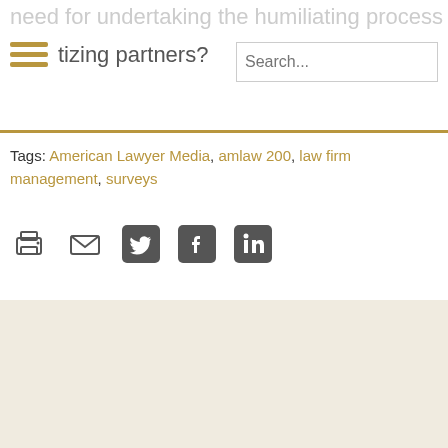need for undertaking the humiliating process of de-scrutinizing partners?
Tags: American Lawyer Media, amlaw 200, law firm management, surveys
[Figure (infographic): Share icons: print, email, Twitter, Facebook, LinkedIn]
Stay Connected
[Figure (infographic): Social icons: RSS feed (orange), LinkedIn (blue), Twitter (blue)]
Subscribe to this blog / Enter Your Email Address...